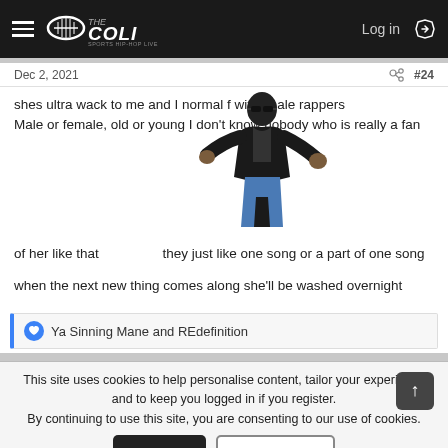THE COLI — Log in
Dec 2, 2021  #24
shes ultra wack to me and I normal f wit female rappers
Male or female, old or young I don't know nobody who is really a fan of her like that     they just like one song or a part of one song

when the next new thing comes along she'll be washed overnight
[Figure (photo): Man in black jacket with arms outstretched, standing pose on transparent/white background]
Ya Sinning Mane and REdefinition
This site uses cookies to help personalise content, tailor your experience and to keep you logged in if you register.
By continuing to use this site, you are consenting to our use of cookies.